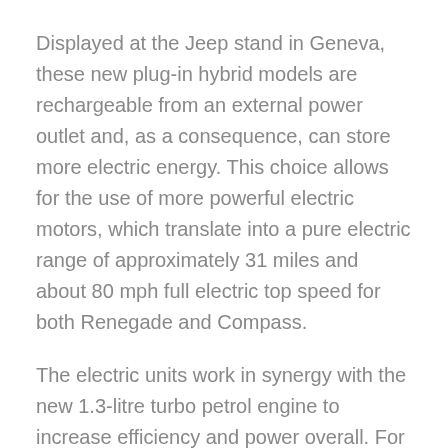Displayed at the Jeep stand in Geneva, these new plug-in hybrid models are rechargeable from an external power outlet and, as a consequence, can store more electric energy. This choice allows for the use of more powerful electric motors, which translate into a pure electric range of approximately 31 miles and about 80 mph full electric top speed for both Renegade and Compass.
The electric units work in synergy with the new 1.3-litre turbo petrol engine to increase efficiency and power overall. For the Renegade, the power sits in the 190 hp and 240 hp range resulting in outstanding performance of approximately 60 mph in under 6 i...